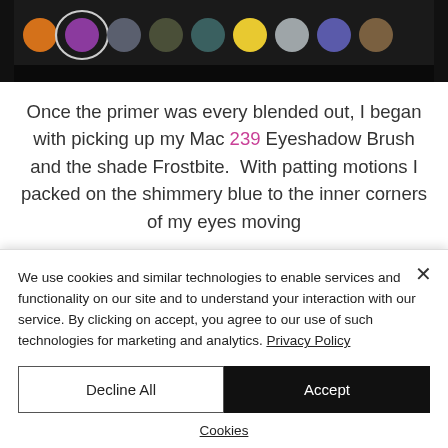[Figure (photo): A makeup eyeshadow palette with rows of colorful circular pans including orange, purple, grey, olive, teal, yellow, silver, and blue shades. One purple/blue shade is circled with an oval highlight.]
Once the primer was every blended out, I began with picking up my Mac 239 Eyeshadow Brush and the shade Frostbite. With patting motions I packed on the shimmery blue to the inner corners of my eyes moving
We use cookies and similar technologies to enable services and functionality on our site and to understand your interaction with our service. By clicking on accept, you agree to our use of such technologies for marketing and analytics. Privacy Policy
Decline All
Accept
Cookies